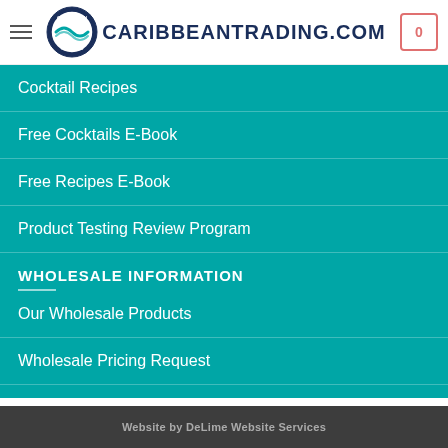CARIBBEANTRADING.COM
Cocktail Recipes
Free Cocktails E-Book
Free Recipes E-Book
Product Testing Review Program
WHOLESALE INFORMATION
Our Wholesale Products
Wholesale Pricing Request
Where to Buy Our Products
Website by DeLime Website Services